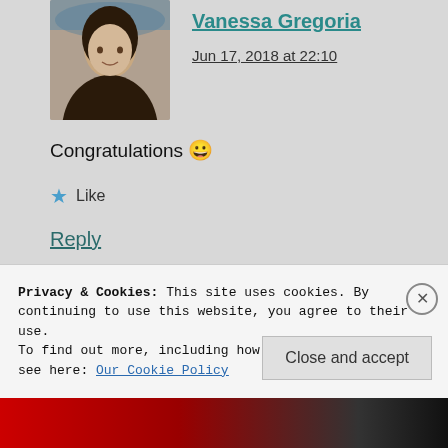[Figure (photo): Profile photo avatar of Vanessa Gregoria, a woman with dark hair]
Vanessa Gregoria says:
Jun 17, 2018 at 22:10
Congratulations 😀
★ Like
Reply
Privacy & Cookies: This site uses cookies. By continuing to use this website, you agree to their use.
To find out more, including how to control cookies, see here: Our Cookie Policy
Close and accept